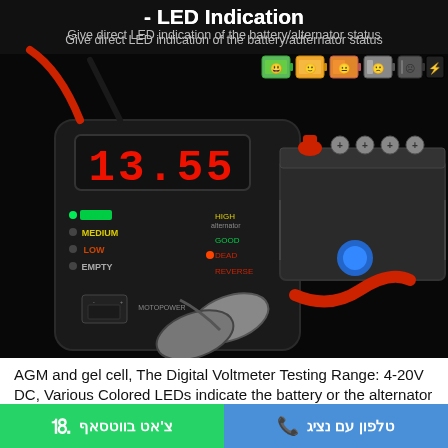- LED Indication
Give direct LED indication of the battery/alternator status
[Figure (photo): Product photo of a MOTOPOWER digital battery tester/voltmeter device showing red LED display reading 13.55, with labels FULL/MEDIUM/LOW/EMPTY and HIGH/GOOD/DEAD/REVERSE, connected to a car battery with red and black clamps. Battery status icon row showing 6 colored battery face icons from green to black.]
AGM and gel cell, The Digital Voltmeter Testing Range: 4-20V DC, Various Colored LEDs indicate the battery or the alternator
צ'אט בווטסאף
טלפון עם נציג